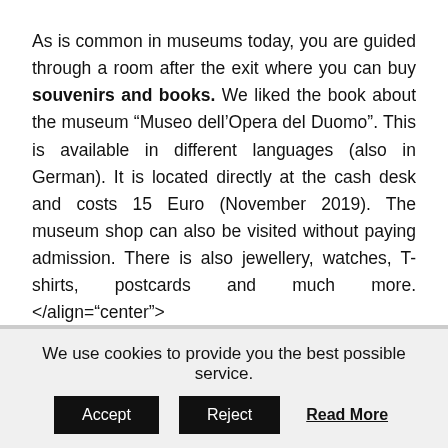As is common in museums today, you are guided through a room after the exit where you can buy souvenirs and books. We liked the book about the museum “Museo dell’Opera del Duomo”. This is available in different languages (also in German). It is located directly at the cash desk and costs 15 Euro (November 2019). The museum shop can also be visited without paying admission. There is also jewellery, watches, T-shirts, postcards and much more.</align=“center”>
In the museum directly there is no cafe,
We use cookies to provide you the best possible service.
Accept   Reject   Read More